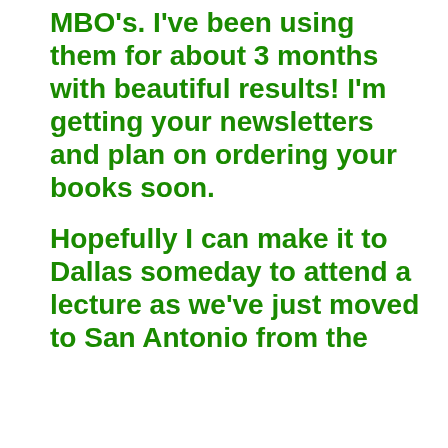MBO’s.  I’ve been using them for about 3 months with beautiful results! I’m getting your newsletters and plan on ordering your books soon.

Hopefully I can make it to Dallas someday to attend a lecture as we’ve just moved to San Antonio from the